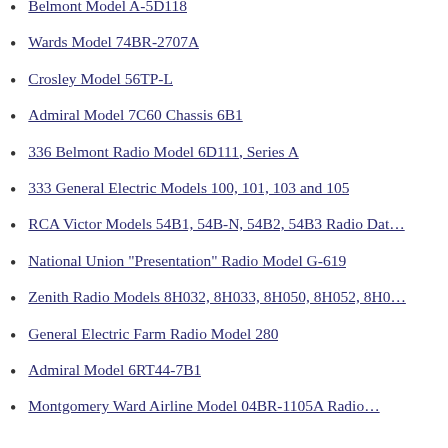Belmont Model A-5D118
Wards Model 74BR-2707A
Crosley Model 56TP-L
Admiral Model 7C60 Chassis 6B1
336 Belmont Radio Model 6D111, Series A
333 General Electric Models 100, 101, 103 and 105
RCA Victor Models 54B1, 54B-N, 54B2, 54B3 Radio Dat…
National Union "Presentation" Radio Model G-619
Zenith Radio Models 8H032, 8H033, 8H050, 8H052, 8H0…
General Electric Farm Radio Model 280
Admiral Model 6RT44-7B1
Montgomery Ward Airline Model 04BR-1105A Radio…